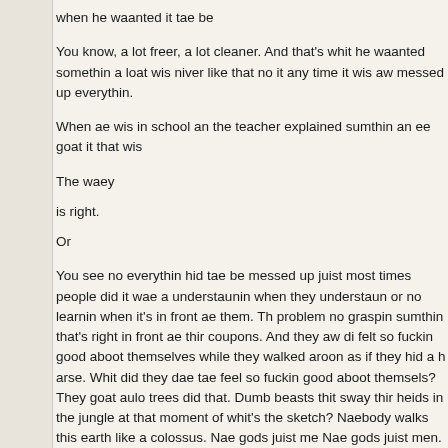when he waanted it tae be
You know, a lot freer, a lot cleaner. And that's whit he waanted somethin a loat wis niver like that no it any time it wis aw messed up everythin.
When ae wis in school an the teacher explained sumthin an ee goat it that wis
The waey
is right.
Or
You see no everythin hid tae be messed up juist most times people did it wae a understaunin when they understaun or no learnin when it's in front ae them. Th problem no graspin sumthin that's right in front ae thir coupons. And they aw di felt so fuckin good aboot themselves while they walked aroon as if they hid a h arse. Whit did they dae tae feel so fuckin good aboot themsels? They goat aulo trees did that. Dumb beasts thit sway thir heids in the jungle at that moment of whit's the sketch? Naebody walks this earth like a colossus. Nae gods juist me Nae gods juist men. And women. And anywaey whit wid a god be daein in the r Setturday efternin? Buyin fuckin shoes?
Ees da wis trying tae rush things in the second shoap. Nuthin boaded well. Su swapped, pure growls man, and a few cuttin comments. And then it juist snapp An ae wis eetin a cheese piece thit ees ma'd made up fore they went oot. Juist